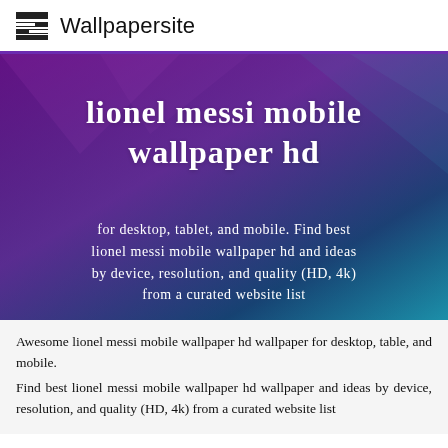Wallpapersite
lionel messi mobile wallpaper hd
for desktop, tablet, and mobile. Find best lionel messi mobile wallpaper hd and ideas by device, resolution, and quality (HD, 4k) from a curated website list
Awesome lionel messi mobile wallpaper hd wallpaper for desktop, table, and mobile.
Find best lionel messi mobile wallpaper hd wallpaper and ideas by device, resolution, and quality (HD, 4k) from a curated website list